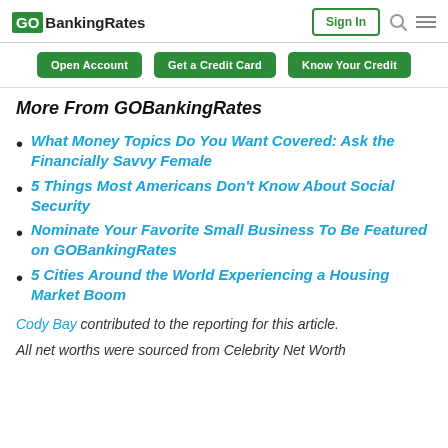GOBankingRates | Sign In
More From GOBankingRates
What Money Topics Do You Want Covered: Ask the Financially Savvy Female
5 Things Most Americans Don't Know About Social Security
Nominate Your Favorite Small Business To Be Featured on GOBankingRates
5 Cities Around the World Experiencing a Housing Market Boom
Cody Bay contributed to the reporting for this article.
All net worths were sourced from Celebrity Net Worth